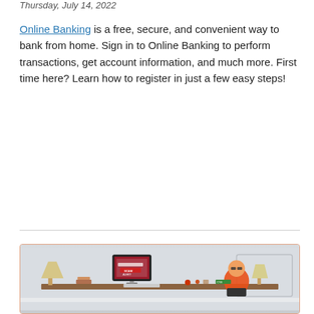Thursday, July 14, 2022
Online Banking is a free, secure, and convenient way to bank from home. Sign in to Online Banking to perform transactions, get account information, and much more. First time here? Learn how to register in just a few easy steps!
Read more
[Figure (photo): A home office desk scene with a computer monitor displaying a scam alert warning, a lamp, keyboard, and a robot mascot figure sitting in a chair]